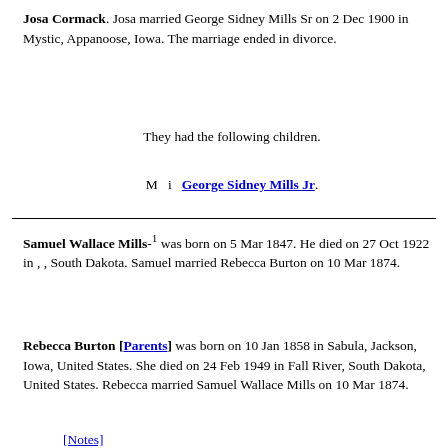Josa Cormack. Josa married George Sidney Mills Sr on 2 Dec 1900 in Mystic, Appanoose, Iowa. The marriage ended in divorce.
They had the following children.
M  i  George Sidney Mills Jr.
Samuel Wallace Mills-1 was born on 5 Mar 1847. He died on 27 Oct 1922 in , , South Dakota. Samuel married Rebecca Burton on 10 Mar 1874.
Rebecca Burton [Parents] was born on 10 Jan 1858 in Sabula, Jackson, Iowa, United States. She died on 24 Feb 1949 in Fall River, South Dakota, United States. Rebecca married Samuel Wallace Mills on 10 Mar 1874.
[Notes]